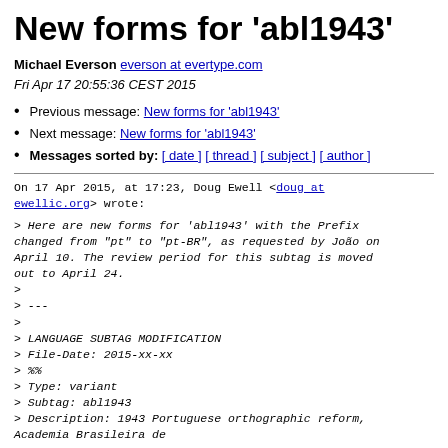New forms for 'abl1943'
Michael Everson everson at evertype.com
Fri Apr 17 20:55:36 CEST 2015
Previous message: New forms for 'abl1943'
Next message: New forms for 'abl1943'
Messages sorted by: [ date ] [ thread ] [ subject ] [ author ]
On 17 Apr 2015, at 17:23, Doug Ewell <doug at ewellic.org> wrote:
> Here are new forms for 'abl1943' with the Prefix changed from "pt" to "pt-BR", as requested by João on April 10. The review period for this subtag is moved out to April 24.
>
> ---
>
> LANGUAGE SUBTAG MODIFICATION
> File-Date: 2015-xx-xx
> %%
> Type: variant
> Subtag: abl1943
> Description: 1943 Portuguese orthographic reform, Academia Brasileira de...